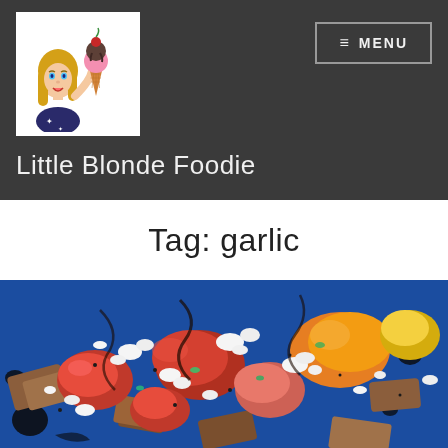[Figure (logo): Little Blonde Foodie logo: cartoon blonde woman with an ice cream cone]
≡ MENU
Little Blonde Foodie
Tag: garlic
[Figure (photo): Close-up food photo of a colorful tomato salad with crumbled feta cheese, croutons, and balsamic drizzle on a blue plate]